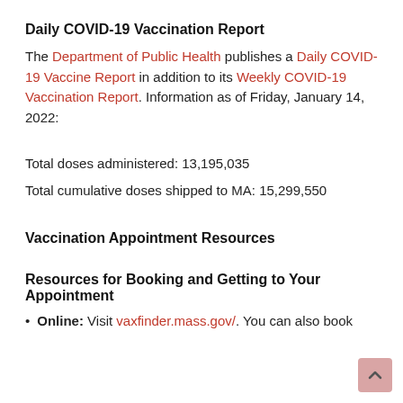Daily COVID-19 Vaccination Report
The Department of Public Health publishes a Daily COVID-19 Vaccine Report in addition to its Weekly COVID-19 Vaccination Report. Information as of Friday, January 14, 2022:
Total doses administered: 13,195,035
Total cumulative doses shipped to MA: 15,299,550
Vaccination Appointment Resources
Resources for Booking and Getting to Your Appointment
Online: Visit vaxfinder.mass.gov/. You can also book